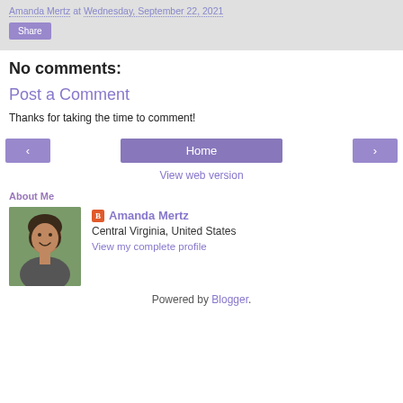Amanda Mertz at Wednesday, September 22, 2021
Share
No comments:
Post a Comment
Thanks for taking the time to comment!
< Home >
View web version
About Me
[Figure (photo): Profile photo of Amanda Mertz, a woman with dark hair smiling outdoors]
Amanda Mertz
Central Virginia, United States
View my complete profile
Powered by Blogger.